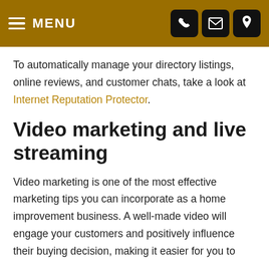MENU
To automatically manage your directory listings, online reviews, and customer chats, take a look at Internet Reputation Protector.
Video marketing and live streaming
Video marketing is one of the most effective marketing tips you can incorporate as a home improvement business. A well-made video will engage your customers and positively influence their buying decision, making it easier for you to